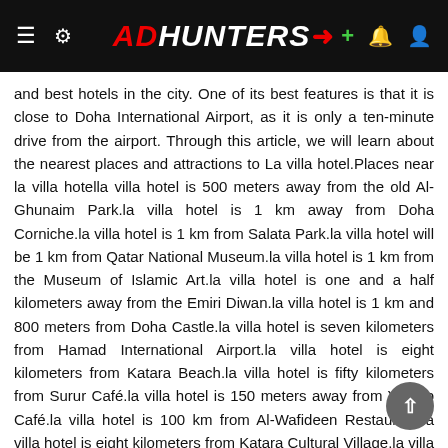ADHUNTERS
and best hotels in the city. One of its best features is that it is close to Doha International Airport, as it is only a ten-minute drive from the airport. Through this article, we will learn about the nearest places and attractions to La villa hotel.Places near la villa hotella villa hotel is 500 meters away from the old Al-Ghunaim Park.la villa hotel is 1 km away from Doha Corniche.la villa hotel is 1 km from Salata Park.la villa hotel will be 1 km from Qatar National Museum.la villa hotel is 1 km from the Museum of Islamic Art.la villa hotel is one and a half kilometers away from the Emiri Diwan.la villa hotel is 1 km and 800 meters from Doha Castle.la villa hotel is seven kilometers from Hamad International Airport.la villa hotel is eight kilometers from Katara Beach.la villa hotel is fifty kilometers from Surur Café.la villa hotel is 150 meters away from Yathrib Café.la villa hotel is 100 km from Al-Wafideen Restaurant.la villa hotel is eight kilometers from Katara Cultural Village.la villa hotel is 13 km from the Arab Museum of Modern Art.la villa hotel is 19 km from Barzan Tower.la villa hotel is five kilometers away from City Center Mall in Doha villa hotel is 300 km from Qatar and Indonesia supermarket villa hotel will be 270 km away from Al-Ghanim Bus StationThings to do at la villa Doha hotelGuests of la villa